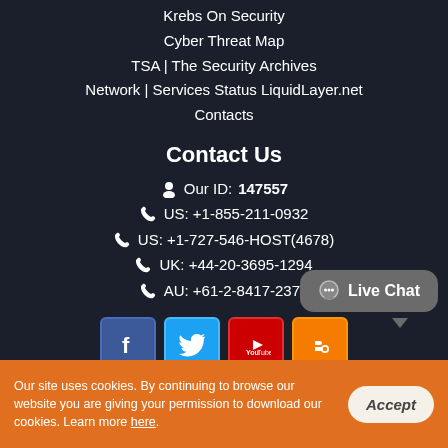Krebs On Security
Cyber Threat Map
TSA | The Security Archives
Network | Services Status LiquidLayer.net
Contacts
Contact Us
Our ID: 147557
US: +1-855-211-0932
US: +1-727-546-HOST(4678)
UK: +44-20-3695-1294
AU: +61-2-8417-2372
[Figure (illustration): Social media icons: Facebook, Twitter, YouTube, Blogger]
[Figure (illustration): Live Chat button/bubble]
Our site uses cookies. By continuing to browse our website you are giving your permission to download our cookies. Learn more here.